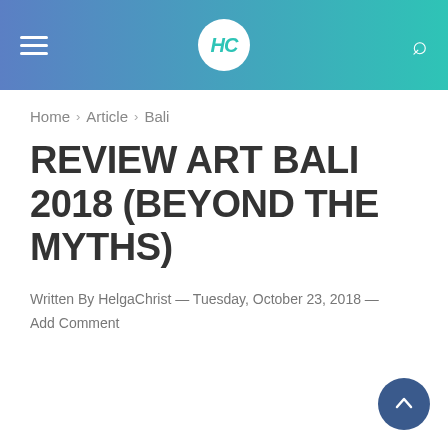HC (logo) — navigation header with hamburger menu and search icon
Home › Article › Bali
REVIEW ART BALI 2018 (BEYOND THE MYTHS)
Written By HelgaChrist — Tuesday, October 23, 2018 — Add Comment